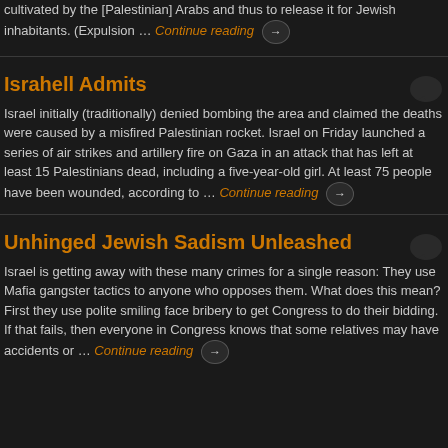cultivated by the [Palestinian] Arabs and thus to release it for Jewish inhabitants. (Expulsion ... Continue reading →
Israhell Admits
Israel initially (traditionally) denied bombing the area and claimed the deaths were caused by a misfired Palestinian rocket. Israel on Friday launched a series of air strikes and artillery fire on Gaza in an attack that has left at least 15 Palestinians dead, including a five-year-old girl. At least 75 people have been wounded, according to ... Continue reading →
Unhinged Jewish Sadism Unleashed
Israel is getting away with these many crimes for a single reason: They use Mafia gangster tactics to anyone who opposes them. What does this mean? First they use polite smiling face bribery to get Congress to do their bidding. If that fails, then everyone in Congress knows that some relatives may have accidents or ... Continue reading →